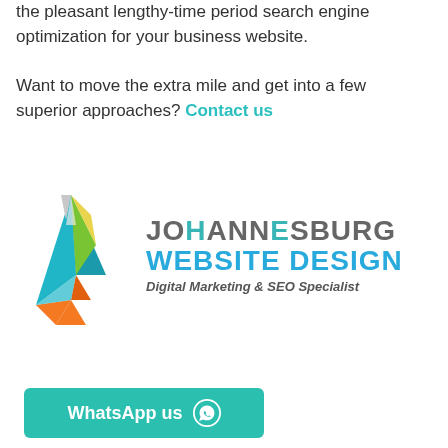the pleasant lengthy-time period search engine optimization for your business website.
Want to move the extra mile and get into a few superior approaches? Contact us
[Figure (logo): Johannesburg Website Design logo with geometric triangular paper-plane icon in teal, green, yellow, orange colors, company name and tagline 'Digital Marketing & SEO Specialist']
WhatsApp us